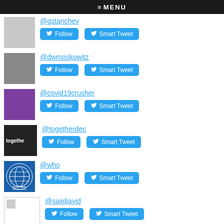≡ MENU
@gstanchev
@dwmoskowitz
@covid19crusher
@togetherdec
@who
@sajidjavid
Top Mentioned in G7:
@thelancetinfdis